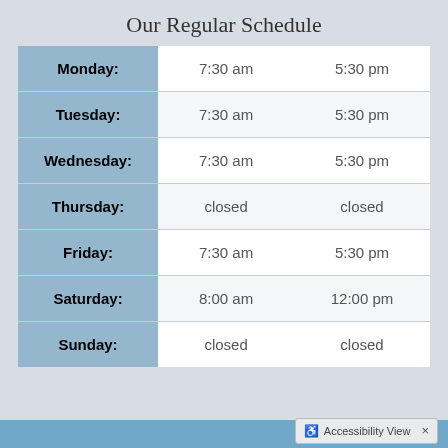Our Regular Schedule
| Day | Open | Close |
| --- | --- | --- |
| Monday: | 7:30 am | 5:30 pm |
| Tuesday: | 7:30 am | 5:30 pm |
| Wednesday: | 7:30 am | 5:30 pm |
| Thursday: | closed | closed |
| Friday: | 7:30 am | 5:30 pm |
| Saturday: | 8:00 am | 12:00 pm |
| Sunday: | closed | closed |
Accessibility View  ×